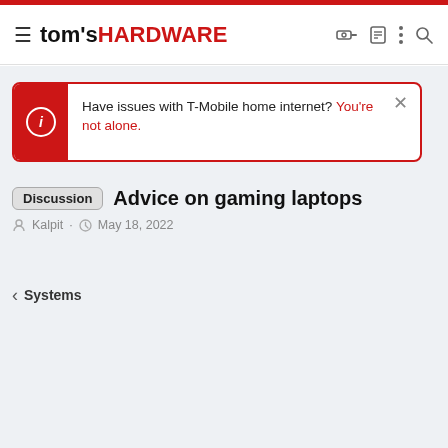tom's HARDWARE
Have issues with T-Mobile home internet? You're not alone.
Discussion Advice on gaming laptops
Kalpit · May 18, 2022
< Systems